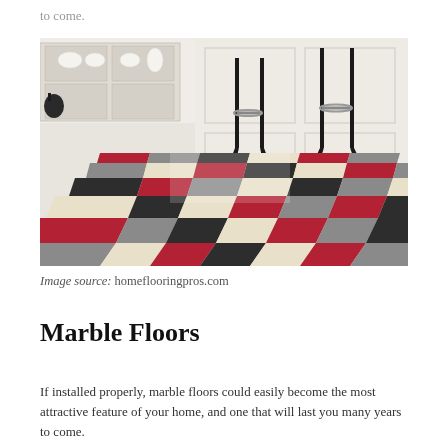to come.
[Figure (photo): Kitchen interior with colorful checkerboard vinyl floor tiles in red, gray, dark charcoal, and cream/beige colors. Two black bar stools visible, white cabinetry in background.]
Image source: homeflooringpros.com
Marble Floors
If installed properly, marble floors could easily become the most attractive feature of your home, and one that will last you many years to come.